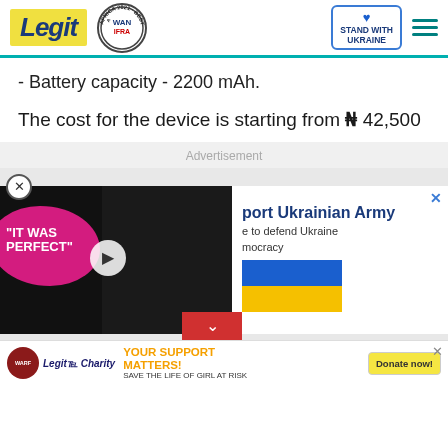Legit - AFRICA 2021 · BEST NEWS WEBSITE IN AFRICA - WAN IFRA - STAND WITH UKRAINE
- Battery capacity - 2200 mAh.
The cost for the device is starting from ₦ 42,500
Advertisement
[Figure (photo): Video thumbnail showing two people at an event with text 'IT WAS PERFECT' overlaid, with a play button]
[Figure (infographic): Support Ukrainian Army ad with Ukrainian flag, close button, text about defending Ukraine and democracy]
[Figure (infographic): Legit Charity banner - YOUR SUPPORT MATTERS! SAVE THE LIFE OF GIRL AT RISK - with WARF logo and Donate now button]